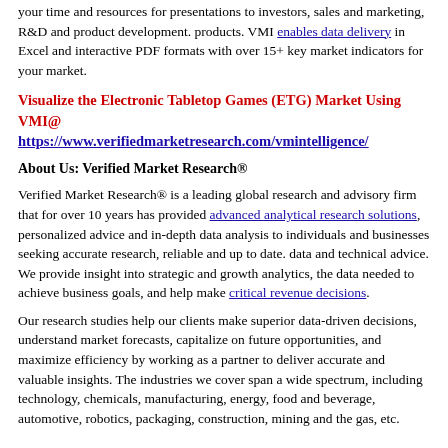your time and resources for presentations to investors, sales and marketing, R&D and product development. products. VMI enables data delivery in Excel and interactive PDF formats with over 15+ key market indicators for your market.
Visualize the Electronic Tabletop Games (ETG) Market Using VMI@
https://www.verifiedmarketresearch.com/vmintelligence/
About Us: Verified Market Research®
Verified Market Research® is a leading global research and advisory firm that for over 10 years has provided advanced analytical research solutions, personalized advice and in-depth data analysis to individuals and businesses seeking accurate research, reliable and up to date. data and technical advice. We provide insight into strategic and growth analytics, the data needed to achieve business goals, and help make critical revenue decisions.
Our research studies help our clients make superior data-driven decisions, understand market forecasts, capitalize on future opportunities, and maximize efficiency by working as a partner to deliver accurate and valuable insights. The industries we cover span a wide spectrum, including technology, chemicals, manufacturing, energy, food and beverage, automotive, robotics, packaging, construction, mining and the gas, etc.